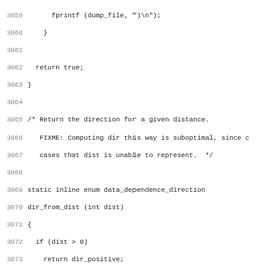Source code listing, lines 3059-3090, showing C code for dir_from_dist and build_classic_dir_vector functions